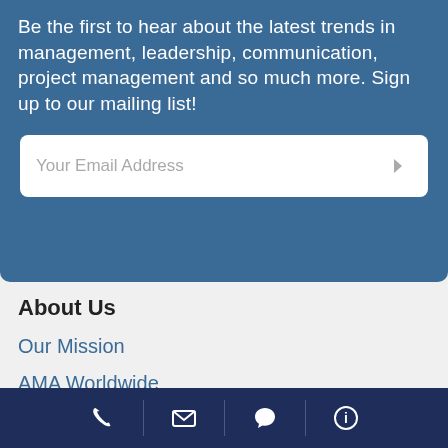Be the first to hear about the latest trends in management, leadership, communication, project management and so much more. Sign up to our mailing list!
[Figure (other): Email address input field with placeholder text 'Your Email Address' and a right-arrow submit button]
About Us
Our Mission
AMA Worldwide
U.S. Locations
AMA Faculty
Phone | Email | Chat | Info icons